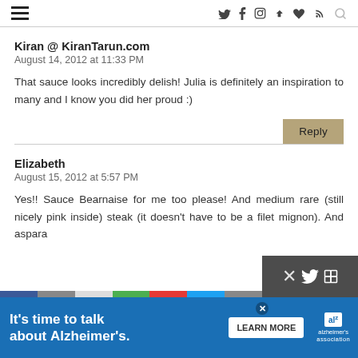Navigation bar with hamburger menu and social icons (Twitter, Facebook, Instagram, Pinterest, heart, RSS, search)
Kiran @ KiranTarun.com
August 14, 2012 at 11:33 PM
That sauce looks incredibly delish! Julia is definitely an inspiration to many and I know you did her proud :)
Elizabeth
August 15, 2012 at 5:57 PM
Yes!! Sauce Bearnaise for me too please! And medium rare (still nicely pink inside) steak (it doesn't have to be a filet mignon). And aspara
[Figure (infographic): Advertisement banner: 'It's time to talk about Alzheimer's.' with LEARN MORE button and Alzheimer's Association logo]